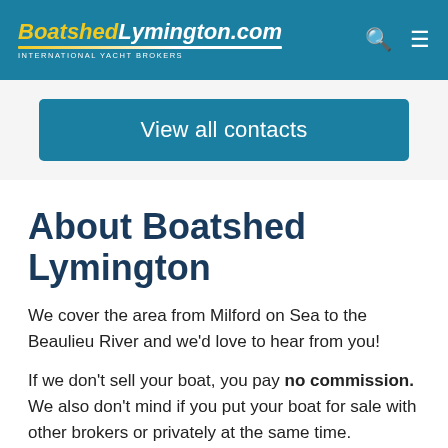BoatshedLymington.com INTERNATIONAL YACHT BROKERS
View all contacts
About Boatshed Lymington
We cover the area from Milford on Sea to the Beaulieu River and we'd love to hear from you!
If we don't sell your boat, you pay no commission. We also don't mind if you put your boat for sale with other brokers or privately at the same time.
We believe that transparency is one of the most important factors to obtain happy sellers and buyers. We will personally visit your boat to record all the details and information, as